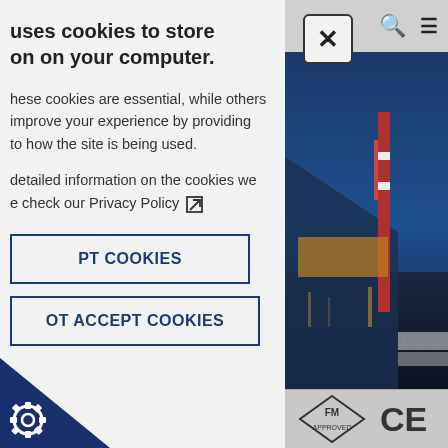uses cookies to store on on your computer.
hese cookies are essential, while others improve your experience by providing to how the site is being used.
detailed information on the cookies we e check our Privacy Policy
PT COOKIES
OT ACCEPT COOKIES
[Figure (screenshot): Industrial/engineering website screenshot showing navigation icons (search and hamburger menu), partially visible text 'erts' and 'sers' in light blue on a dark blue background, and an industrial night scene with a lit-up building/bridge structure. Bottom shows certification logos: FM Approved diamond logo and CE marking.]
[Figure (logo): Cookie consent corner icon - dark blue triangle with a white gear/cogwheel icon]